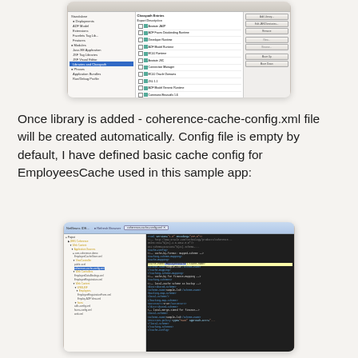[Figure (screenshot): Screenshot of an IDE/project configuration dialog showing library dependencies list with 'Coherence Runtime' selected (highlighted in blue) and various other library entries with checkboxes, alongside buttons for Add Library, Edit, Move Up, Move Down, etc.]
Once library is added - coherence-cache-config.xml file will be created automatically. Config file is empty by default, I have defined basic cache config for EmployeesCache used in this sample app:
[Figure (screenshot): Screenshot of an IDE showing a project file tree on the left with various XML and Java files, and on the right panel the coherence-cache-config.xml file content with XML code defining cache configuration, including a highlighted line showing cache-name element with 'EmployeesCache' value.]